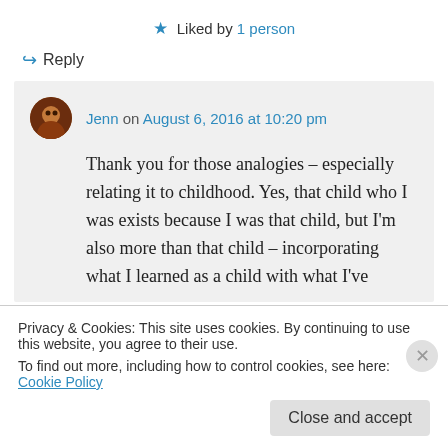★ Liked by 1 person
↪ Reply
Jenn on August 6, 2016 at 10:20 pm
Thank you for those analogies – especially relating it to childhood. Yes, that child who I was exists because I was that child, but I'm also more than that child – incorporating what I learned as a child with what I've
Privacy & Cookies: This site uses cookies. By continuing to use this website, you agree to their use.
To find out more, including how to control cookies, see here: Cookie Policy
Close and accept